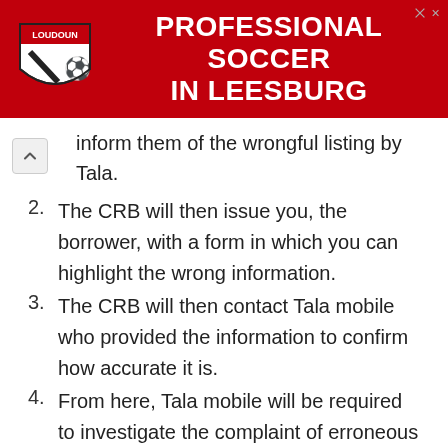[Figure (other): Advertisement banner for Loudoun Soccer – Professional Soccer in Leesburg, red background with shield logo]
inform them of the wrongful listing by Tala.
The CRB will then issue you, the borrower, with a form in which you can highlight the wrong information.
The CRB will then contact Tala mobile who provided the information to confirm how accurate it is.
From here, Tala mobile will be required to investigate the complaint of erroneous information.
Tala mobile has fourteen (14) days to